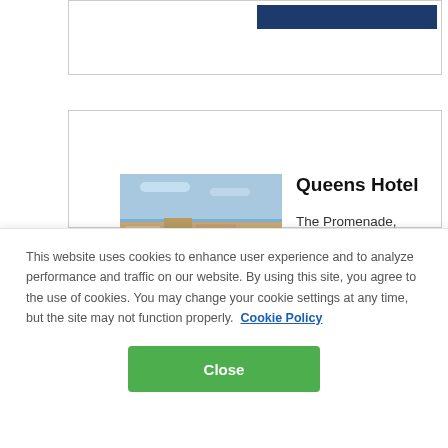[Figure (screenshot): Partial hotel listing card at top of page with a blue button element visible]
3 Superior Tourist Class
Queens Hotel
The Promenade, Penzance, United Kingdom TR18 4HG
70 Rooms
[Figure (photo): Photo of Queens Hotel exterior showing waterfront building in Penzance]
This website uses cookies to enhance user experience and to analyze performance and traffic on our website. By using this site, you agree to the use of cookies. You may change your cookie settings at any time, but the site may not function properly.  Cookie Policy
Close